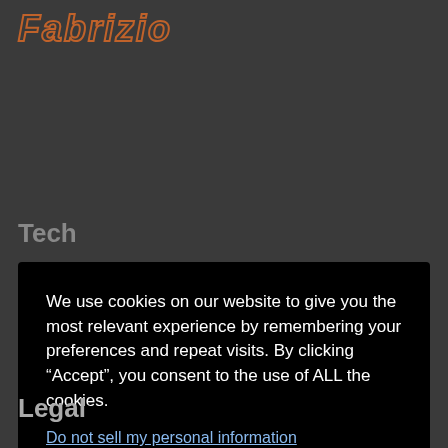Fabrizio
Tech
We use cookies on our website to give you the most relevant experience by remembering your preferences and repeat visits. By clicking “Accept”, you consent to the use of ALL the cookies.
Do not sell my personal information.
Cookie Settings
Accept
Rankmath
Legal